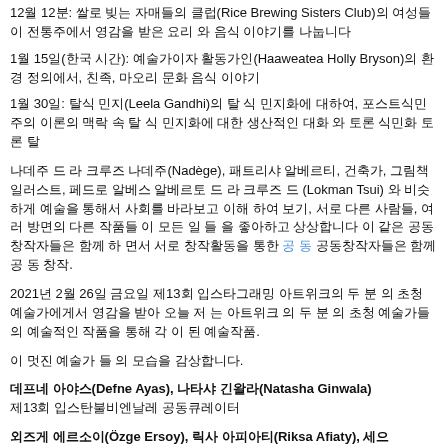12월 12분: 쌀로 빚는 자매들의 클럽(Rice Brewing Sisters Club)의 여성들이 전통주에서 영감을 받은 요리 와 음식 이야기를 나눕니다
1월 15일(한국 시간): 예술가이자 활동가인(Haaweatea Holly Bryson)의 환경 정의에서, 친족, 마오리 문화 음식 이야기
1월 30일: 탈식 민지(Leela Gandhi)의 탈 식 민지화에 대하여, 포스트식민주의 이론의 맥락 속 탈 식 민지화에 대한 생산적인 대화 와 토론 식민화 토론 탈
나데주 드 라 크루즈 나데주(Nadège), 패트리샤 알베르티, 건축가, 그림책 일러스트, 페드로 알베스 알베르토 드 라 크루즈 드 (Lokman Tsui) 와 비슷하게 예술을 통해서 사회를 바라보고 이해 하여 보기, 서로 다른 사람들, 여러 방면의 다른 작품들 이 모든 일 들 을 좋아하고 상상합니다 이 같은 공동창작자들은 함께 하 면서 서로 창작활동을 통한 공 동 창작.
2021년 2월 26일 금요일 제13회 입스타그래밍 아트위크의 두 분 의 초청 예술가에게서 영감을 받아 오늘 저 는 아트위크 의 두 분 의 초청 예술가들의 예술적인 작품을 통해 각 이 된 예술작품.
이 멋진 예술가 들 의 모습을 감상합니다.
데프네 아야스(Defne Ayas), 나타샤 긴왈라(Natasha Ginwala)
제13회 입스탄불비엔날레 공동큐레이터
외즈게 에르소이(Özge Ersoy), 릭사 아피아티(Riksa Afiaty), 세으
제13회 입스탄불비엔날레 와 한국을 주제 연구자